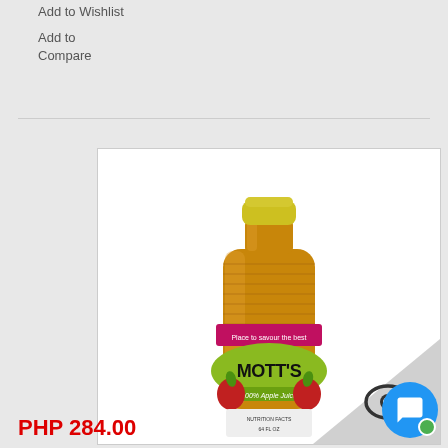Add to Wishlist
Add to Compare
[Figure (photo): Mott's 100% Apple Juice 64oz bottle with yellow cap and green/pink label on white background. Bottom-right corner has a diagonal grey watermark with an eye icon.]
Motts 100% Apple Juice 64oz
PHP 284.00